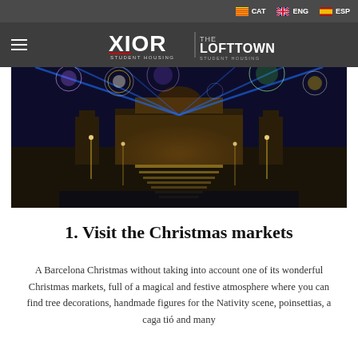CAT  ENG  ESP
[Figure (logo): XIOR Student Housing | THE LOFTTOWN Student Housing logo in white on dark grey background]
[Figure (photo): Night-time fireworks display over a grand illuminated building (Palau Nacional, Barcelona), with blue light beams and festive crowds below]
1. Visit the Christmas markets
A Barcelona Christmas without taking into account one of its wonderful Christmas markets, full of a magical and festive atmosphere where you can find tree decorations, handmade figures for the Nativity scene, poinsettias, a caga tió and many